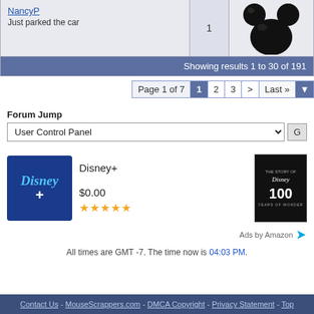| User | Posts | Avatar |
| --- | --- | --- |
| NancyP
Just parked the car | 1 | [Mickey Mouse icon] |
Showing results 1 to 30 of 191
Page 1 of 7  1  2  3  >  Last »
Forum Jump
User Control Panel
[Figure (screenshot): Disney+ advertisement showing Disney+ logo, $0.00 price, 5-star rating, and Disney 100 Years of Wonder image]
Ads by Amazon
All times are GMT -7. The time now is 04:03 PM.
Contact Us - MouseScrappers.com - DMCA Copyright - Privacy Statement - Top